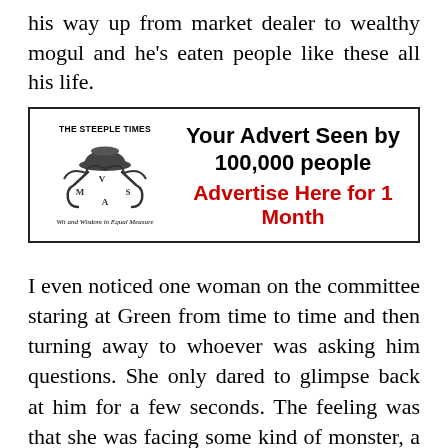his way up from market dealer to wealthy mogul and he's eaten people like these all his life.
[Figure (illustration): The Steeple Times advertisement box with logo (bowler hat and crossed umbrellas with V, M, S, A letters) and text: 'Your Advert Seen by 100,000 people' and 'Advertise Here for 1 Month' in red. Tagline: 'Wit and Wisdom in Equal Measure'.]
I even noticed one woman on the committee staring at Green from time to time and then turning away to whoever was asking him questions. She only dared to glimpse back at him for a few seconds. The feeling was that she was facing some kind of monster, a rabid devourer of